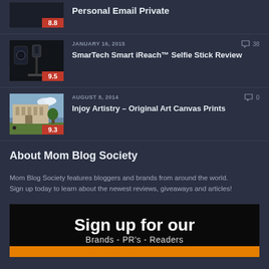8.8 — Personal Email Private
JANUARY 16, 2015 — 38 comments — 9.5 — SmarTech Smart iReach™ Selfie Stick Review
AUGUST 8, 2014 — 0 comments — 9.3 — Injoy Artistry – Original Art Canvas Prints
About Mom Blog Society
Mom Blog Society features bloggers and brands from around the world. Sign up today to learn about the newest reviews, giveaways and articles!
[Figure (infographic): Sign up banner: 'Sign up for our Brands - PR's - Readers' with orange accent bar at bottom]